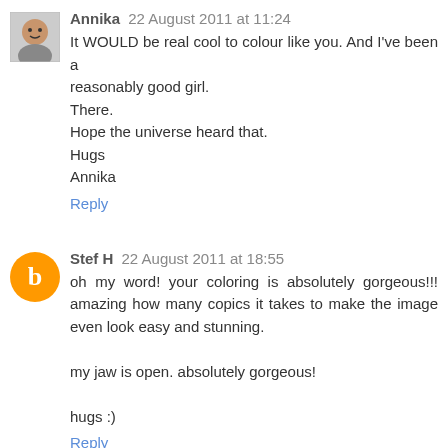Annika 22 August 2011 at 11:24
It WOULD be real cool to colour like you. And I've been a reasonably good girl.
There.
Hope the universe heard that.
Hugs
Annika
Reply
Stef H 22 August 2011 at 18:55
oh my word! your coloring is absolutely gorgeous!!! amazing how many copics it takes to make the image even look easy and stunning.

my jaw is open. absolutely gorgeous!

hugs :)
Reply